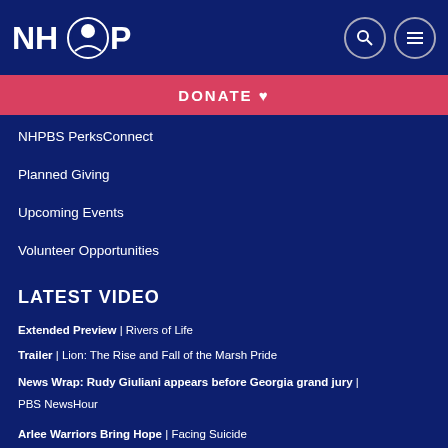NH PBS
DONATE ♥
NHPBS PerksConnect
Planned Giving
Upcoming Events
Volunteer Opportunities
LATEST VIDEO
Extended Preview | Rivers of Life
Trailer | Lion: The Rise and Fall of the Marsh Pride
News Wrap: Rudy Giuliani appears before Georgia grand jury | PBS NewsHour
Arlee Warriors Bring Hope | Facing Suicide